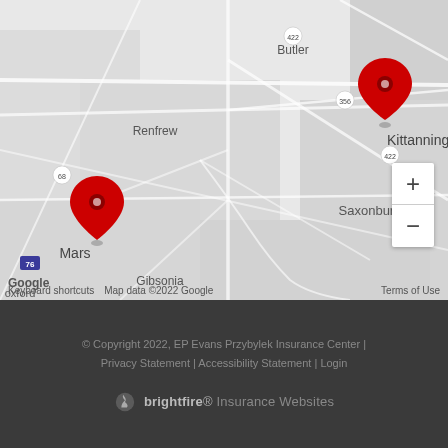[Figure (map): Google Maps view of western Pennsylvania showing locations in Mars and Kittanning with red map pins. Area includes Butler, Renfrew, Saxonburg, Fenelton, Worthington, Ford City, Sarver, Freeport, Gibsonia, Oxford. Roads and route markers (422, 356, 228, 28, 66, 76, 8, 68) are visible.]
© Copyright 2022, EP Evans Przybylek Insurance Center | Privacy Statement | Accessibility Statement | Login
brightfire Insurance Websites